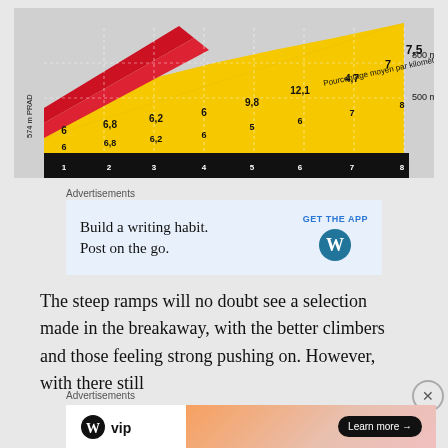[Figure (infographic): Tour de France mountain climb profile chart showing elevation gradient. Yellow mountain profile with red diagonal stripe at top-left. Elevation markers 800m and 500m on right side. Label reading 'Pourcentage moyen par kilometre'. Black base showing kilometer markers 1-8 and percentage grades: 6, 6.8, 6.2, 6, 9.8, 12.1, 4.7, 7, 7.5 (top row) and 6, 6.8, 6.2, 6, 5, 6, 7, 8 (bottom of black section). Left side shows '574 m PRAD' vertically.]
Advertisements
[Figure (other): WordPress advertisement banner: 'Build a writing habit. Post on the go.' with 'GET THE APP' button and WordPress logo]
The steep ramps will no doubt see a selection made in the breakaway, with the better climbers and those feeling strong pushing on. However, with there still
Advertisements
[Figure (other): WordPress VIP advertisement with gradient orange/pink background and 'Learn more →' button]